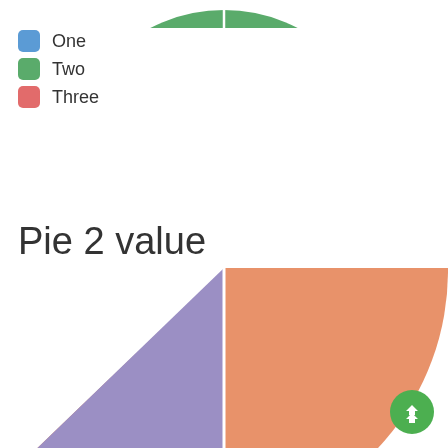[Figure (pie-chart): Top portion of a pie chart showing a green slice at the top]
[Figure (other): Legend with three color swatches: blue for One, green for Two, red/pink for Three]
Pie 2 value
[Figure (pie-chart): Pie chart with large orange section (~two thirds) and smaller purple section visible at bottom]